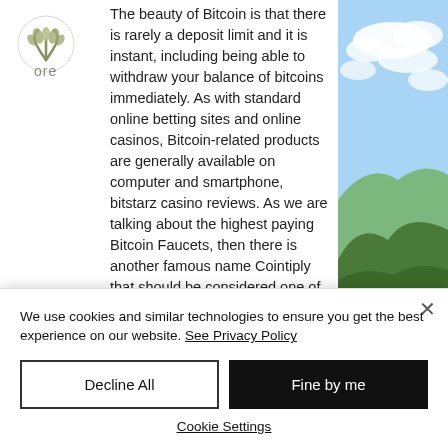[Figure (logo): Circular logo with stylized plant/leaf design and text 'ore' below]
The beauty of Bitcoin is that there is rarely a deposit limit and it is instant, including being able to withdraw your balance of bitcoins immediately. As with standard online betting sites and online casinos, Bitcoin-related products are generally available on computer and smartphone, bitstarz casino reviews. As we are talking about the highest paying Bitcoin Faucets, then there is another famous name Cointiply that should be considered one of them because, on its next-generation platform, you can win up to thousands of Satoshis on a daily basis. What you have to do to get free coins is to
[Figure (photo): Landscape photo with blue sky, white clouds, green hills and mountains]
We use cookies and similar technologies to ensure you get the best experience on our website. See Privacy Policy
Decline All
Fine by me
Cookie Settings